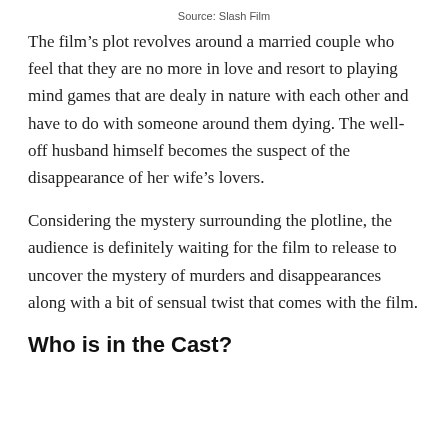Source: Slash Film
The film’s plot revolves around a married couple who feel that they are no more in love and resort to playing mind games that are dealy in nature with each other and have to do with someone around them dying. The well-off husband himself becomes the suspect of the disappearance of her wife’s lovers.
Considering the mystery surrounding the plotline, the audience is definitely waiting for the film to release to uncover the mystery of murders and disappearances along with a bit of sensual twist that comes with the film.
Who is in the Cast?